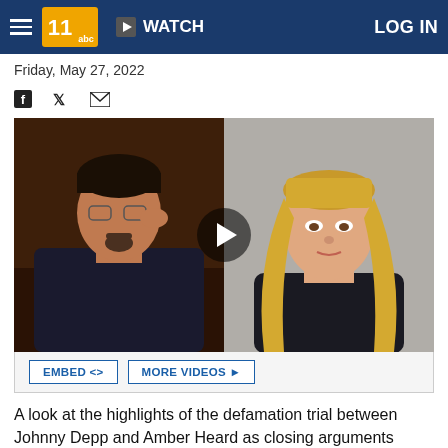WATCH | LOG IN
Friday, May 27, 2022
[Figure (photo): Split photo: on the left, Johnny Depp sitting at a courtroom table touching his ear; on the right, Amber Heard standing in court. A video play button overlay is centered between the two images.]
EMBED <> MORE VIDEOS ▶
A look at the highlights of the defamation trial between Johnny Depp and Amber Heard as closing arguments begin.